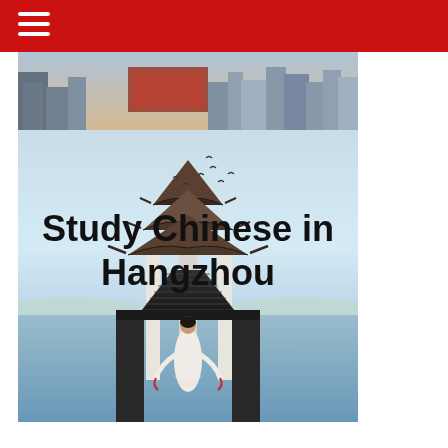[Figure (photo): Composite photo: top strip shows a city skyline scene; main image shows a woman in white dress walking along a bridge pier toward a traditional Chinese pagoda at West Lake, Hangzhou, with birds flying overhead and calm water on both sides.]
Study Chinese in Hangzhou